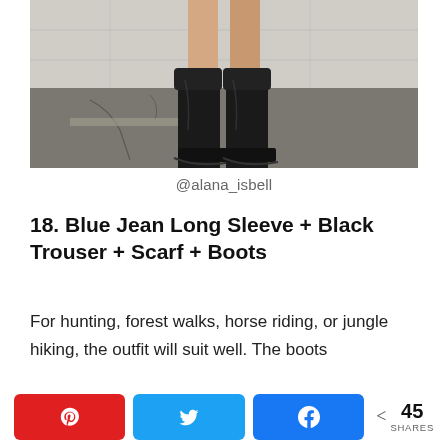[Figure (photo): Photo of a person wearing black cowboy/western boots standing on a cracked asphalt street with a concrete wall in the background. Only the lower legs and boots are visible.]
@alana_isbell
18. Blue Jean Long Sleeve + Black Trouser + Scarf + Boots
For hunting, forest walks, horse riding, or jungle hiking, the outfit will suit well. The boots
45 SHARES